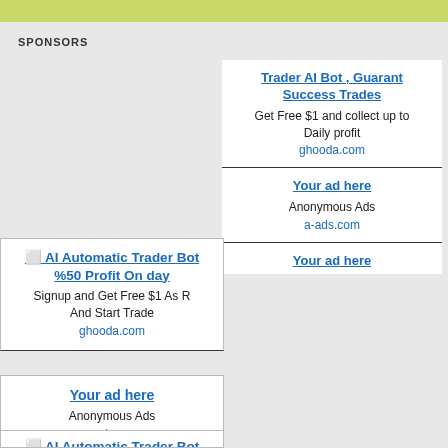SPONSORS
Trader AI Bot , Guarant Success Trades
Get Free $1 and collect up to Daily profit
ghooda.com
Your ad here
Anonymous Ads
a-ads.com
Your ad here
⬜ AI Automatic Trader Bot %50 Profit On day
Signup and Get Free $1 As R And Start Trade
ghooda.com
Your ad here
Anonymous Ads
a-ads.com
⬜ AI Automatic Trader Bot